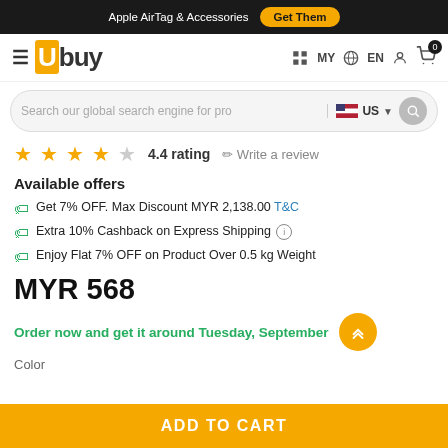Apple AirTag & Accessories  Get Them
[Figure (logo): Ubuy logo with orange background square and navigation icons]
Search our global search engine for pro  US
4.4 rating  Write a review
Available offers
Get 7% OFF. Max Discount MYR 2,138.00 T&C
Extra 10% Cashback on Express Shipping
Enjoy Flat 7% OFF on Product Over 0.5 kg Weight
MYR 568
Order now and get it around Tuesday, September
Color
ADD TO CART